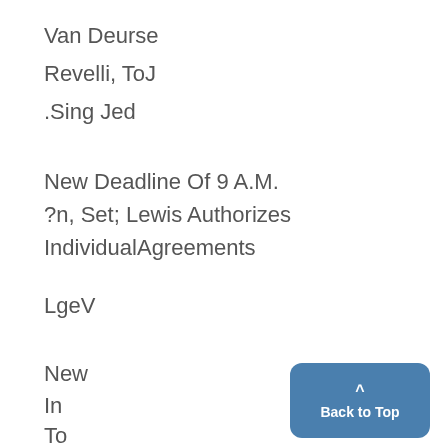Van Deurse
Revelli, ToJ
.Sing Jed
New Deadline Of 9 A.M.
?n, Set; Lewis Authorizes IndividualAgreements
LgeV
New
In
To